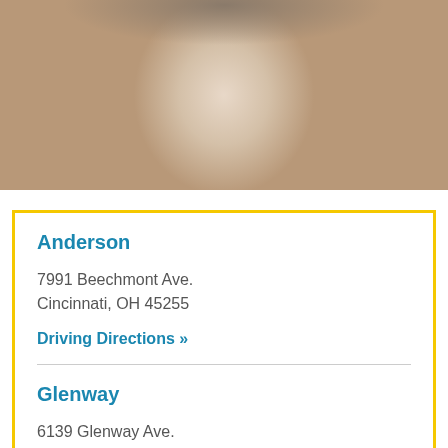[Figure (photo): Close-up photo of a woman with blue eyes wearing a cream/white knitted turtleneck sweater pulled up over her lower face, with a dark natural background]
Anderson
7991 Beechmont Ave.
Cincinnati, OH 45255
Driving Directions »
Glenway
6139 Glenway Ave.
Cincinnati, OH 45211
Driving Directions »